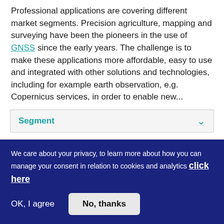Professional applications are covering different market segments. Precision agriculture, mapping and surveying have been the pioneers in the use of GNSS since the early years. The challenge is to make these applications more affordable, easy to use and integrated with other solutions and technologies, including for example earth observation, e.g. Copernicus services, in order to enable new...
Segment
GALILEO-2-2017:EGNSS Mass market applications
We care about your privacy, to learn more about how you can manage your consent in relation to cookies and analytics click here